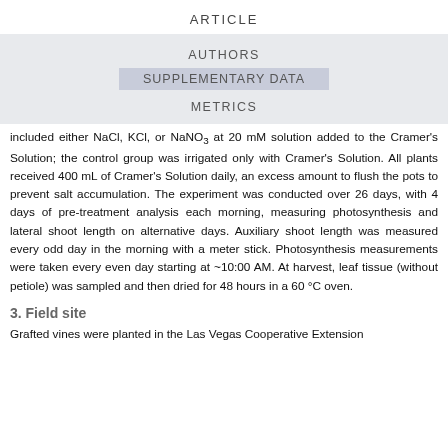ARTICLE
AUTHORS
SUPPLEMENTARY DATA
METRICS
included either NaCl, KCl, or NaNO3 at 20 mM solution added to the Cramer's Solution; the control group was irrigated only with Cramer's Solution. All plants received 400 mL of Cramer's Solution daily, an excess amount to flush the pots to prevent salt accumulation. The experiment was conducted over 26 days, with 4 days of pre-treatment analysis each morning, measuring photosynthesis and lateral shoot length on alternative days. Auxiliary shoot length was measured every odd day in the morning with a meter stick. Photosynthesis measurements were taken every even day starting at ~10:00 AM. At harvest, leaf tissue (without petiole) was sampled and then dried for 48 hours in a 60 °C oven.
3. Field site
Grafted vines were planted in the Las Vegas Cooperative Extension